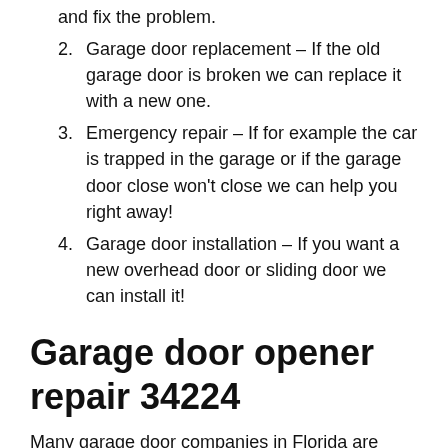and fix the problem.
2. Garage door replacement – If the old garage door is broken we can replace it with a new one.
3. Emergency repair – If for example the car is trapped in the garage or if the garage door close won't close we can help you right away!
4. Garage door installation – If you want a new overhead door or sliding door we can install it!
Garage door opener repair 34224
Many garage door companies in Florida are quick to tell you that you need to replace your garage